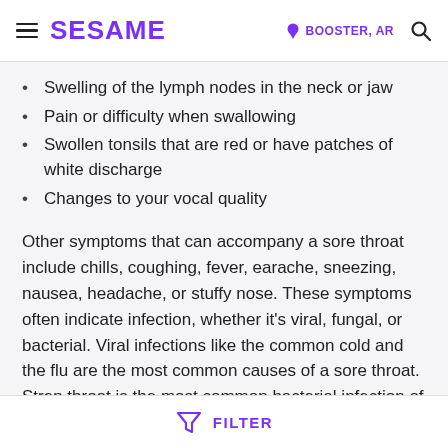SESAME | BOOSTER, AR
Swelling of the lymph nodes in the neck or jaw
Pain or difficulty when swallowing
Swollen tonsils that are red or have patches of white discharge
Changes to your vocal quality
Other symptoms that can accompany a sore throat include chills, coughing, fever, earache, sneezing, nausea, headache, or stuffy nose. These symptoms often indicate infection, whether it's viral, fungal, or bacterial. Viral infections like the common cold and the flu are the most common causes of a sore throat. Strep throat is the most common bacterial infection of the throat, which affects 1 in 10 adults and 3 in 10 children every year. Other serious illnesses involving a sore throat
FILTER